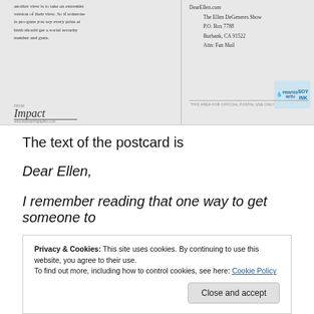[Figure (photo): Scanned postcard image. Left side has handwritten text in cursive reading partial message about someone's view and social security number. Right side has address: DearEllen.com, The Ellen DeGeneres Show, P.O. Box 7788, Burbank, CA 91522, Attn: Fan Mail. Bottom left has Impact printing logo and website. Top right has Soy Ink logo. Dividing line and postal use area label visible.]
The text of the postcard is
Dear Ellen,
I remember reading that one way to get someone to
Privacy & Cookies: This site uses cookies. By continuing to use this website, you agree to their use.
To find out more, including how to control cookies, see here: Cookie Policy
Close and accept